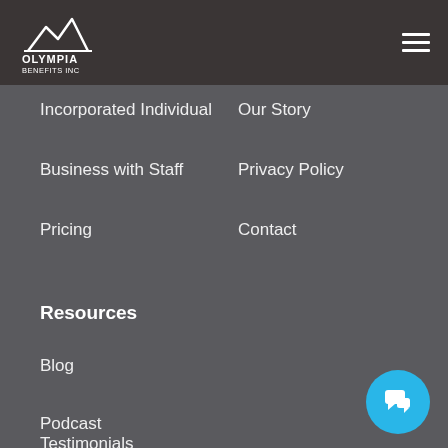Olympia Benefits Inc
Incorporated Individual
Our Story
Business with Staff
Privacy Policy
Pricing
Contact
Resources
Blog
Podcast
Library
Testimonials